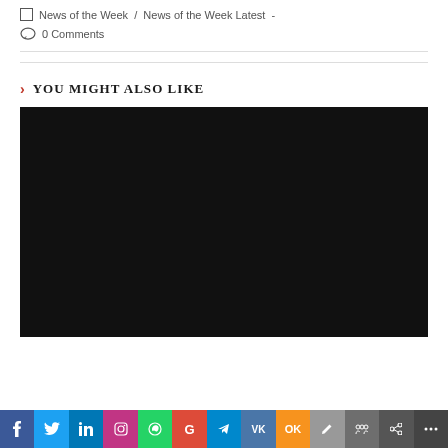News of the Week / News of the Week Latest -
0 Comments
YOU MIGHT ALSO LIKE
[Figure (photo): Large dark/black image block, content not visible]
Social share bar: Facebook, Twitter, LinkedIn, Instagram, WhatsApp, Google, Telegram, VK, OK, pen/edit, group, link, more